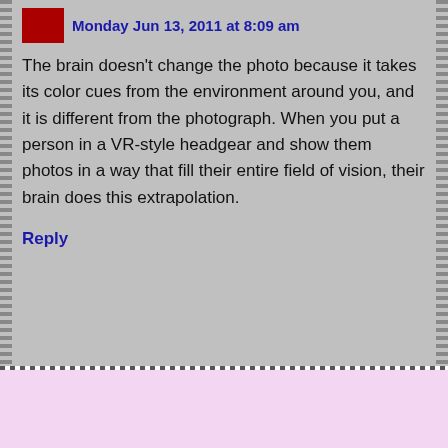Monday Jun 13, 2011 at 8:09 am
The brain doesn't change the photo because it takes its color cues from the environment around you, and it is different from the photograph. When you put a person in a VR-style headgear and show them photos in a way that fill their entire field of vision, their brain does this extrapolation.
Reply
Jennifer Snow says: Monday Jun 13, 2011 at 10:26 am
Yep, as in this illusion:
http://www.opticalillusions.net/Chess-board-illusion-12-vp.aspx
Reply